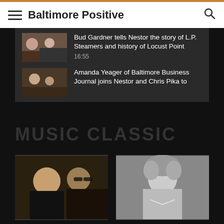Baltimore Positive
[Figure (screenshot): Video thumbnail: Bud Gardner and Nestor at table with food]
Bud Gardner tells Nestor the story of L.P. Steamers and history of Locust Point
16:55
[Figure (screenshot): Video thumbnail: Amanda Yeager interview]
Amanda Yeager of Baltimore Business Journal joins Nestor and Chris Pika to
MUSIC CLASSIC
[Figure (photo): Color photo of Rick with Cheap Trick member]
Rick brings Cheap Trick family spirit with The Nielsen Trust to
[Figure (photo): Black and white photo of Billy Squier]
Billy Squier chats about The Stroke and success in December 1989